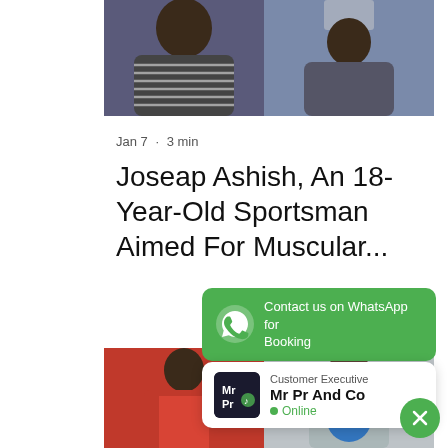[Figure (photo): Two photos side by side at top: left shows a person in a striped hoodie, right shows a person taking a mirror selfie]
Jan 7 · 3 min
Joseap Ashish, An 18-Year-Old Sportsman Aimed For Muscular...
[Figure (infographic): Green WhatsApp banner with icon text: Contact us on WhatsApp for Booking]
[Figure (infographic): CTA card: Customer Executive, Mr Pr And Co, Online status indicator]
[Figure (photo): Two photos at bottom: left shows person in red tank top, right shows person with Captain America shield]
[Figure (other): Green circular close/X button at bottom right]